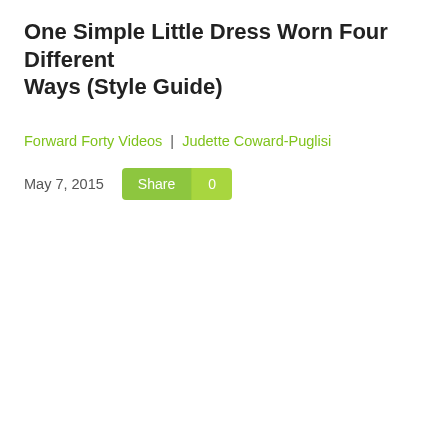One Simple Little Dress Worn Four Different Ways (Style Guide)
Forward Forty Videos | Judette Coward-Puglisi
May 7, 2015  Share 0